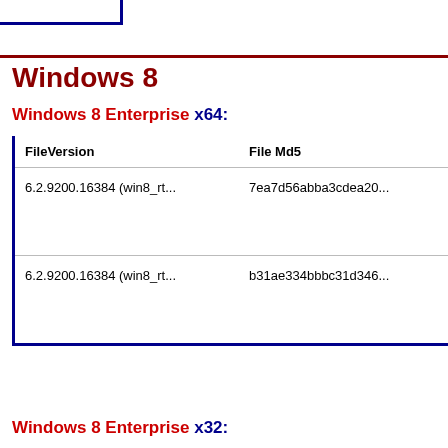Windows 8
Windows 8 Enterprise x64:
| FileVersion | File Md5 |
| --- | --- |
| 6.2.9200.16384 (win8_rt... | 7ea7d56abba3cdea20... |
| 6.2.9200.16384 (win8_rt... | b31ae334bbbc31d346... |
Windows 8 Enterprise x32: